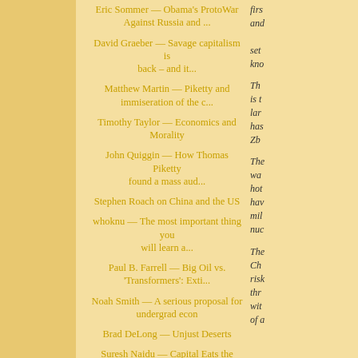Eric Sommer — Obama's ProtoWar Against Russia and ...
David Graeber — Savage capitalism is back – and it...
Matthew Martin — Piketty and immiseration of the c...
Timothy Taylor — Economics and Morality
John Quiggin — How Thomas Piketty found a mass aud...
Stephen Roach on China and the US
whoknu — The most important thing you will learn a...
Paul B. Farrell — Big Oil vs. 'Transformers': Exti...
Noah Smith — A serious proposal for undergrad econ
Brad DeLong — Unjust Deserts
Suresh Naidu — Capital Eats the World
Mark Karlin — New Allende Overthrow Info Reconfirm...
The Arthurian — How does it get from this balance ...
firs and set kno
The is t lar has Zb
The wa hot hav mil nuc
The Ch ris thr wit of a